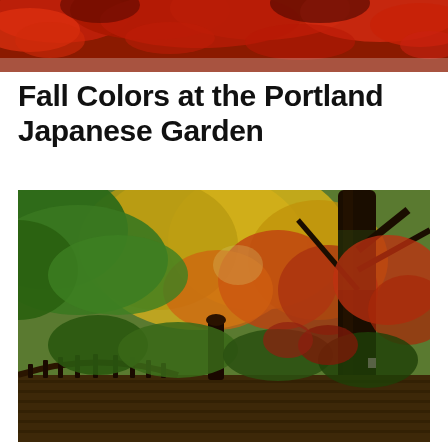[Figure (photo): Close-up of vivid red Japanese maple leaves against a light background, cropped at top of page.]
Fall Colors at the Portland Japanese Garden
[Figure (photo): A wooden arched bridge in the foreground leads into a lush Japanese garden with vibrant autumn foliage — green, yellow, orange, and red trees — with a large dark-trunked tree on the right side.]